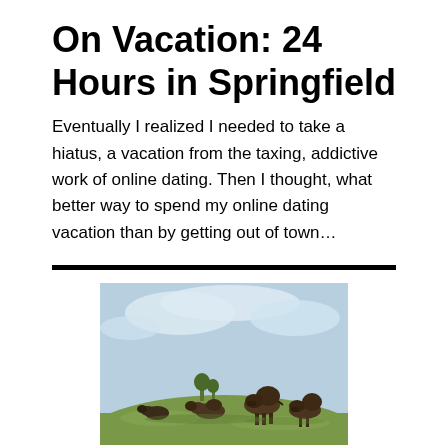On Vacation: 24 Hours in Springfield
Eventually I realized I needed to take a hiatus, a vacation from the taxing, addictive work of online dating. Then I thought, what better way to spend my online dating vacation than by getting out of town…
[Figure (photo): A group of bison grazing on a grassy hillside under a partly cloudy blue sky.]